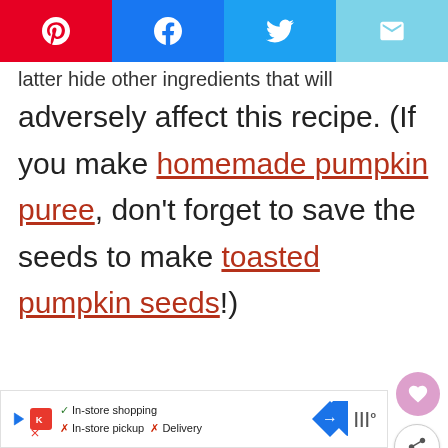[Figure (screenshot): Social media share buttons: Pinterest (red), Facebook (blue), Twitter (light blue), Email (cyan)]
latter hide other ingredients that will
adversely affect this recipe. (If you make homemade pumpkin puree, don't forget to save the seeds to make toasted pumpkin seeds!)
[Figure (screenshot): Advertisement bar at bottom showing in-store shopping options with icons]
[Figure (screenshot): What's Next widget showing The Differences... article preview]